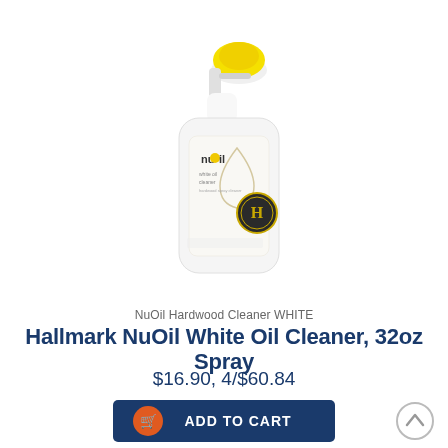[Figure (photo): NuOil Hardwood Cleaner WHITE spray bottle with yellow trigger, white bottle body with NuOil label and gold Hallmark H medallion]
NuOil Hardwood Cleaner WHITE
Hallmark NuOil White Oil Cleaner, 32oz Spray
$16.90, 4/$60.84
[Figure (other): Add to Cart button with shopping cart icon]
[Figure (other): Scroll to top circular arrow button]